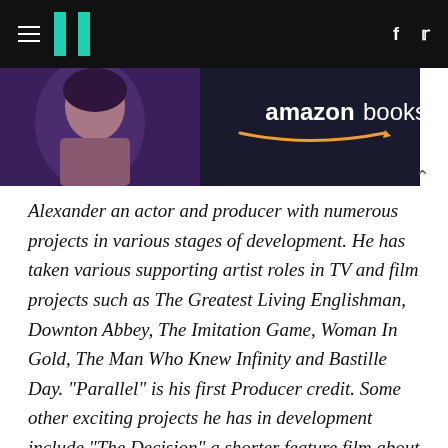HuffPost navigation with hamburger menu, logo, facebook and twitter icons
[Figure (photo): Amazon Books advertisement banner showing a woman's face on dark background with 'amazon books' logo and arrow]
Alexander an actor and producer with numerous projects in various stages of development. He has taken various supporting artist roles in TV and film projects such as The Greatest Living Englishman, Downton Abbey, The Imitation Game, Woman In Gold, The Man Who Knew Infinity and Bastille Day. "Parallel" is his first Producer credit. Some other exciting projects he has in development include "The Decision" a shorter feature film about an army officer who is haunted by a foreign female voice; "The Way To Live" an epic